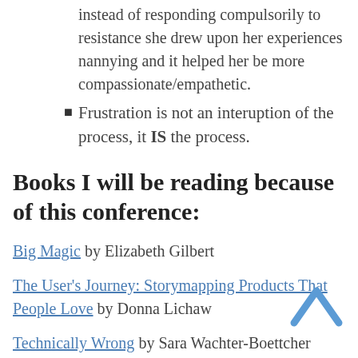instead of responding compulsorily to resistance she drew upon her experiences nannying and it helped her be more compassionate/empathetic.
Frustration is not an interuption of the process, it IS the process.
Books I will be reading because of this conference:
Big Magic by Elizabeth Gilbert
The User's Journey: Storymapping Products That People Love by Donna Lichaw
Technically Wrong by Sara Wachter-Boettcher
—
And if this has made you want to attend Confab next year, save the date for April 24